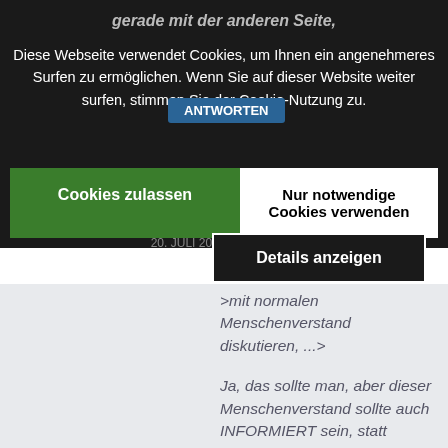gerade mit der anderen Seite,
Diese Webseite verwendet Cookies, um Ihnen ein angenehmeres Surfen zu ermöglichen. Wenn Sie auf dieser Website weiter surfen, stimmen Sie der Cookie-Nutzung zu.
Cookies zulassen
Nur notwendige Cookies verwenden
Details anzeigen
20. JULI 2020, 7:57
@ Phil Steige...
>mit normalen Menschenverstand diskutieren, ...>
Ja, das sollte man, aber dieser Menschenverstand sollte auch INFORMIERT sein, statt Klischees wie das vom Lohndumping nachzubeten.
Viele Unternehmen ...